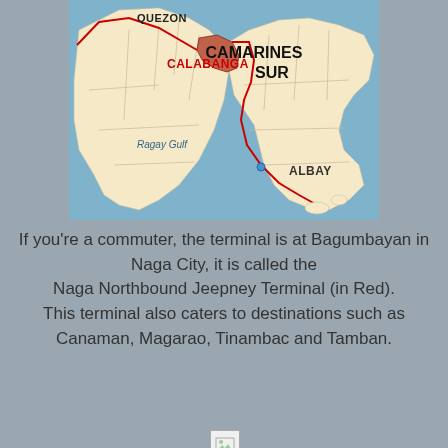[Figure (map): Map of Camarines Sur province in the Philippines showing Calabanga municipality highlighted in red/brown, with labels for QUEZON to the north, CAMARINES SUR as the main region, Ragay Gulf body of water, CALABANGA municipality in bold red, and ALBAY to the southeast.]
If you're a commuter, the terminal is at Bagumbayan in Naga City, it is called the Naga Northbound Jeepney Terminal (in Red). This terminal also caters to destinations such as Canaman, Magarao, Tinambac and Tamban.
[Figure (photo): Broken/missing image placeholder icon]